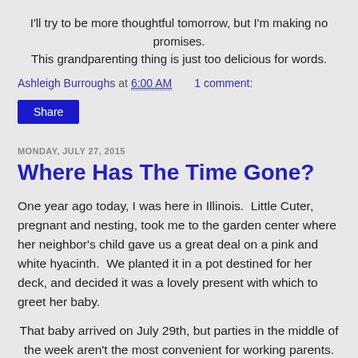I'll try to be more thoughtful tomorrow, but I'm making no promises. This grandparenting thing is just too delicious for words.
Ashleigh Burroughs at 6:00 AM   1 comment:
Share
MONDAY, JULY 27, 2015
Where Has The Time Gone?
One year ago today, I was here in Illinois.  Little Cuter, pregnant and nesting, took me to the garden center where her neighbor's child gave us a great deal on a pink and white hyacinth.  We planted it in a pot destined for her deck, and decided it was a lovely present with which to greet her baby.
That baby arrived on July 29th, but parties in the middle of the week aren't the most convenient for working parents. So, family
[Figure (photo): Two small photo thumbnails partially visible at the bottom of the page, showing garden/outdoor scenes in green tones.]